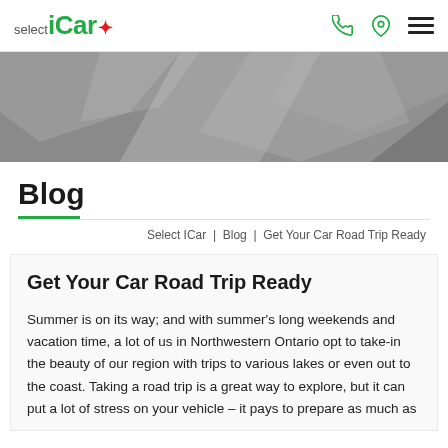[Figure (logo): selectiCar logo with green iCar text and red maple leaf]
[Figure (illustration): Gray geometric polygon hero banner background]
Blog
Select ICar | Blog | Get Your Car Road Trip Ready
Get Your Car Road Trip Ready
Summer is on its way; and with summer’s long weekends and vacation time, a lot of us in Northwestern Ontario opt to take-in the beauty of our region with trips to various lakes or even out to the coast. Taking a road trip is a great way to explore, but it can put a lot of stress on your vehicle – it pays to prepare as much as